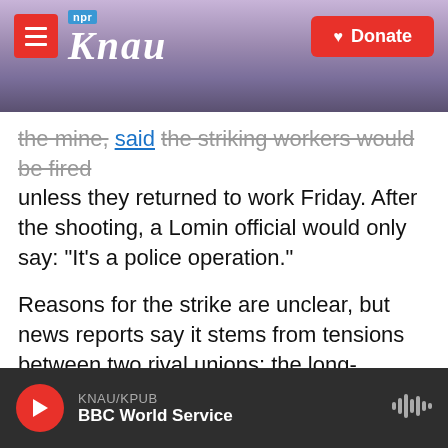KNAU NPR / Donate
the mine, said the striking workers would be fired unless they returned to work Friday. After the shooting, a Lomin official would only say: "It's a police operation."
Reasons for the strike are unclear, but news reports say it stems from tensions between two rival unions: the long-established National Union of Mineworkers and the Association of Mineworkers and Construction Union, which is newer and more militant.
Here's more from the AP:
KNAU/KPUB BBC World Service